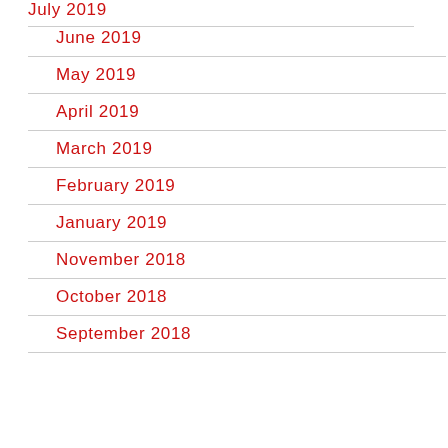July 2019
June 2019
May 2019
April 2019
March 2019
February 2019
January 2019
November 2018
October 2018
September 2018